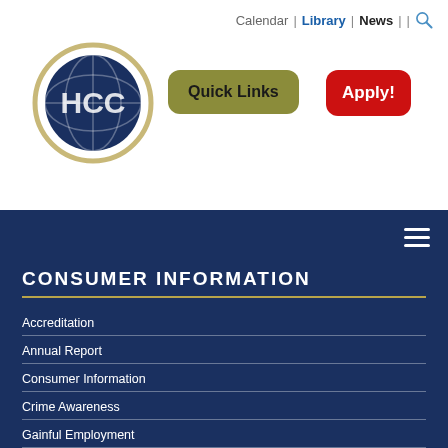Calendar | Library | News | |
[Figure (logo): HCC college circular logo with globe and stylized letters]
Quick Links
Apply!
CONSUMER INFORMATION
Accreditation
Annual Report
Consumer Information
Crime Awareness
Gainful Employment
Student Demographics
DEPARTMENTS